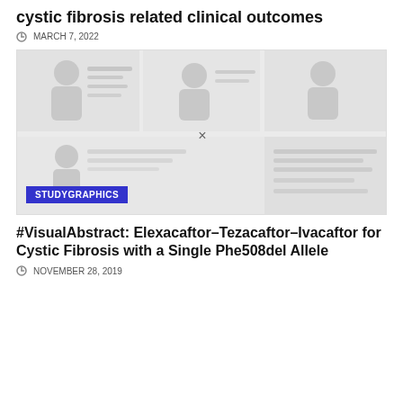cystic fibrosis related clinical outcomes
MARCH 7, 2022
[Figure (screenshot): A faded/blurred studygraphics visual abstract image with a STUDYGRAPHICS badge overlay in the bottom left corner]
#VisualAbstract: Elexacaftor–Tezacaftor–Ivacaftor for Cystic Fibrosis with a Single Phe508del Allele
NOVEMBER 28, 2019